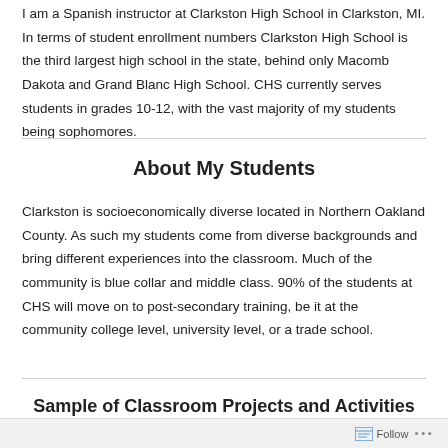I am a Spanish instructor at Clarkston High School in Clarkston, MI. In terms of student enrollment numbers Clarkston High School is the third largest high school in the state, behind only Macomb Dakota and Grand Blanc High School. CHS currently serves students in grades 10-12, with the vast majority of my students being sophomores.
About My Students
Clarkston is socioeconomically diverse located in Northern Oakland County. As such my students come from diverse backgrounds and bring different experiences into the classroom. Much of the community is blue collar and middle class. 90% of the students at CHS will move on to post-secondary training, be it at the community college level, university level, or a trade school.
Sample of Classroom Projects and Activities